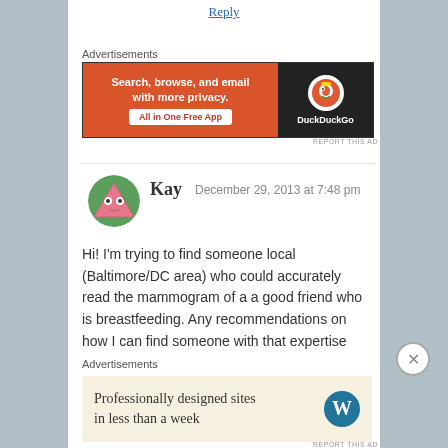Reply
Advertisements
[Figure (screenshot): DuckDuckGo advertisement banner: orange left panel with text 'Search, browse, and email with more privacy. All in One Free App' and dark right panel with DuckDuckGo logo]
REPORT THIS AD
Kay  December 29, 2013 at 7:48 pm
Hi! I'm trying to find someone local (Baltimore/DC area) who could accurately read the mammogram of a a good friend who is breastfeeding. Any recommendations on how I can find someone with that expertise and capability?
Reply
Advertisements
[Figure (screenshot): WordPress advertisement: beige background with text 'Professionally designed sites in less than a week' and WordPress logo]